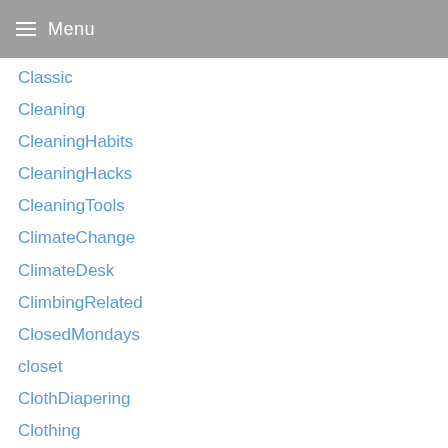Menu
Classic
Cleaning
CleaningHabits
CleaningHacks
CleaningTools
ClimateChange
ClimateDesk
ClimbingRelated
ClosedMondays
closet
ClothDiapering
Clothing
Coa
Coaching
Cocktails
Coffee
CoffeeMugAmericanHorrorStory